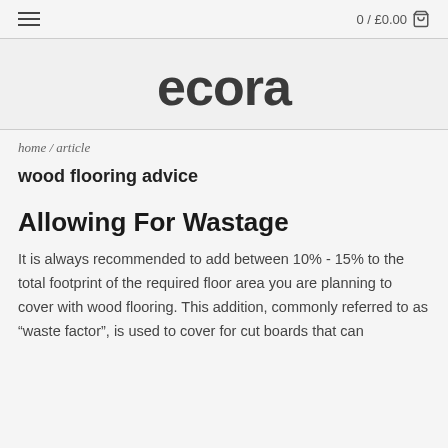≡   0 / £0.00 🛒
[Figure (logo): ecora brand logo in large dark bold sans-serif text]
home / article
wood flooring advice
Allowing For Wastage
It is always recommended to add between 10% - 15% to the total footprint of the required floor area you are planning to cover with wood flooring. This addition, commonly referred to as "waste factor", is used to cover for cut boards that can